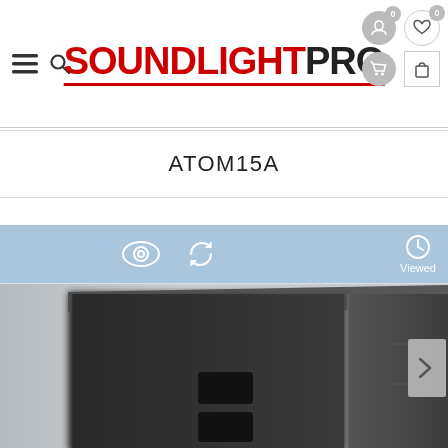SOUNDLIGHTPRO
ATOM15A
[Figure (screenshot): E-commerce product page for ATOM15A speaker on SoundLightPro website, showing navigation header with hamburger menu, search icon, logo, cart and wishlist icons, product title bar, blue tab bar with view/refresh icons and Viewed label, and a close-up product image of a large black professional speaker/subwoofer cabinet]
Viewed